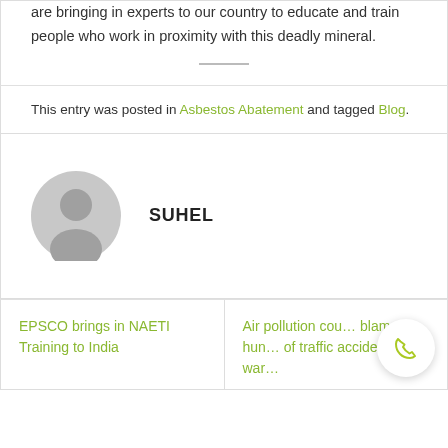are bringing in experts to our country to educate and train people who work in proximity with this deadly mineral.
This entry was posted in Asbestos Abatement and tagged Blog.
SUHEL
EPSCO brings in NAETI Training to India
Air pollution could be to blame for hundreds of traffic accidents, warn...